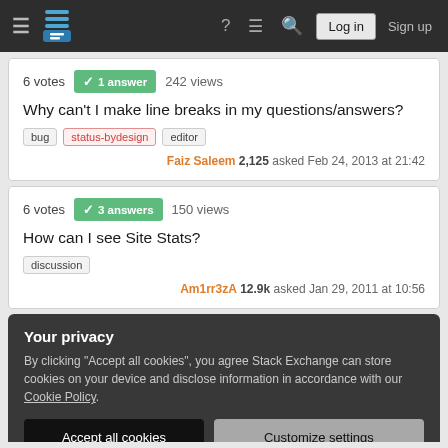Stack Exchange navigation bar with hamburger menu, logo, help icon, chat icon, search icon, Log in button, Sign up link
6 votes · 1 answer · 242 views
Why can't I make line breaks in my questions/answers?
bug
status-bydesign
editor
Faiz Saleem 2,125 asked Feb 24, 2013 at 21:42
6 votes · 3 answers · 150 views
How can I see Site Stats?
discussion
Am1rr3zA 12.9k asked Jan 29, 2011 at 10:56
Your privacy
By clicking "Accept all cookies", you agree Stack Exchange can store cookies on your device and disclose information in accordance with our Cookie Policy.
Accept all cookies
Customize settings